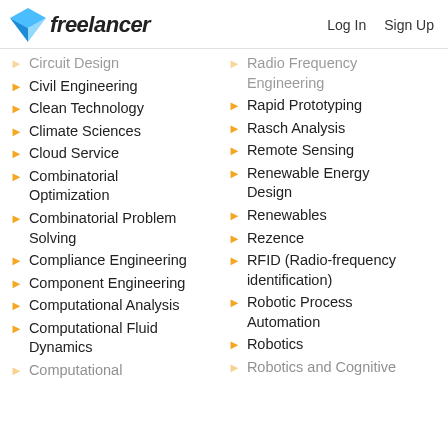Freelancer | Log In  Sign Up
Circuit Design
Civil Engineering
Clean Technology
Climate Sciences
Cloud Service
Combinatorial Optimization
Combinatorial Problem Solving
Compliance Engineering
Component Engineering
Computational Analysis
Computational Fluid Dynamics
Computational
Radio Frequency Engineering
Rapid Prototyping
Rasch Analysis
Remote Sensing
Renewable Energy Design
Renewables
Rezence
RFID (Radio-frequency identification)
Robotic Process Automation
Robotics
Robotics and Cognitive